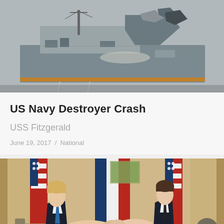[Figure (photo): Damaged USS Fitzgerald Navy destroyer ship showing collision damage on starboard side, with debris and structural damage visible]
US Navy Destroyer Crash
USS Fitzgerald
June 19, 2017  /  National
[Figure (photo): Two men in suits shaking hands seated in front of American and French flags — appears to be Donald Trump and Emmanuel Macron]